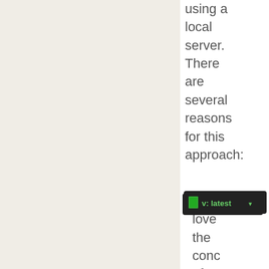using a local server. There are several reasons for this approach:
We love the concept of git, with a local
[Figure (screenshot): Version selector badge showing 'v: latest' with a dropdown arrow on dark background]